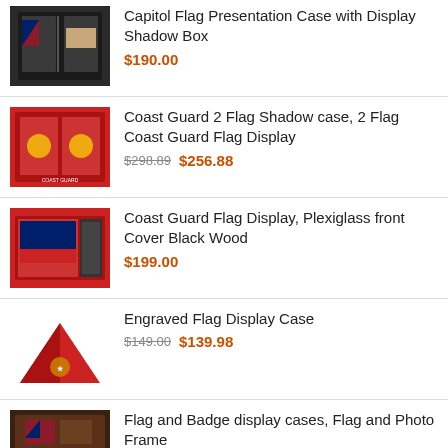Capitol Flag Presentation Case with Display Shadow Box
$190.00
Coast Guard 2 Flag Shadow case, 2 Flag Coast Guard Flag Display
$298.89  $256.88
Coast Guard Flag Display, Plexiglass front Cover Black Wood
$199.00
Engraved Flag Display Case
$149.00  $139.98
Flag and Badge display cases, Flag and Photo Frame
$395.00  $295.97
Flag and Certificate Case Black Frame, American Made
$295.00  $199.99